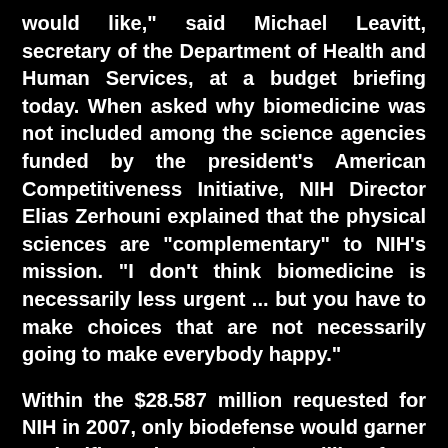would like," said Michael Leavitt, secretary of the Department of Health and Human Services, at a budget briefing today. When asked why biomedicine was not included among the science agencies funded by the president's American Competitiveness Initiative, NIH Director Elias Zerhouni explained that the physical sciences are "complementary" to NIH's mission. "I don't think biomedicine is necessarily less urgent ... but you have to make choices that are not necessarily going to make everybody happy."
Within the $28.587 million requested for NIH in 2007, only biodefense would garner a significant increase--$110 million for a new biodefense fund to help universities and companies commercialize countermeasures. Another $49 million would expand an initiative on genes, environment, and health, and